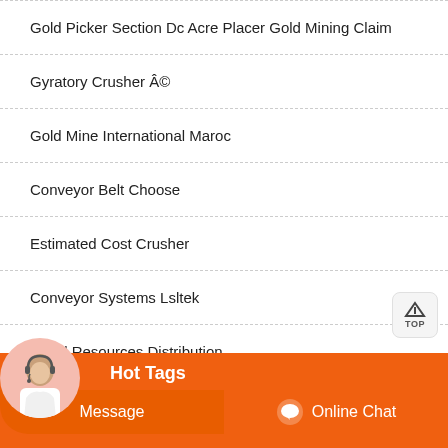Gold Picker Section Dc Acre Placer Gold Mining Claim
Gyratory Crusher Â©
Gold Mine International Maroc
Conveyor Belt Choose
Estimated Cost Crusher
Conveyor Systems Lsltek
Brazil Resources Distribution
Hot Tags